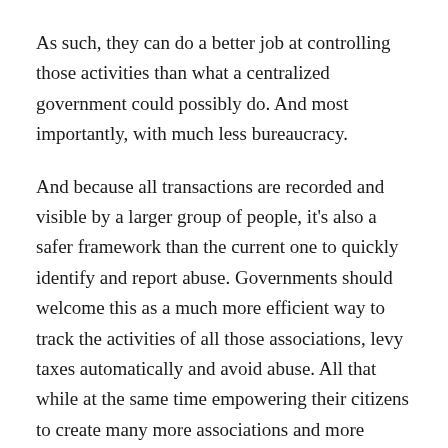As such, they can do a better job at controlling those activities than what a centralized government could possibly do. And most importantly, with much less bureaucracy.
And because all transactions are recorded and visible by a larger group of people, it's also a safer framework than the current one to quickly identify and report abuse. Governments should welcome this as a much more efficient way to track the activities of all those associations, levy taxes automatically and avoid abuse. All that while at the same time empowering their citizens to create many more associations and more economic activity.
There are still many open questions that we will have to